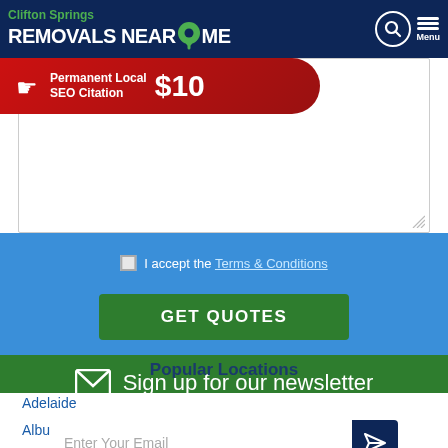[Figure (screenshot): Website header with dark navy background showing 'Clifton Springs' in green, 'REMOVALS NEAR ME' in white bold with green map pin icon, search icon circle and hamburger Menu button on the right]
[Figure (infographic): Red banner ad: hand icon with text 'Permanent Local SEO Citation $10']
[Figure (screenshot): White textarea input box with resize handle in bottom right corner]
I accept the Terms & Conditions
[Figure (screenshot): Green GET QUOTES button]
Sign up for our newsletter
Enter Your Email
Popular Locations
Adelaide
Albury-Wodonga